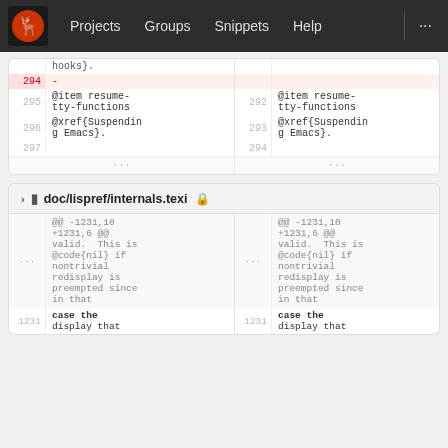Projects  Groups  Snippets  Help  ...
| ln-old | code-old | ln-new | code-new |
| --- | --- | --- | --- |
|  | hooks}. |  |  |
| 294 | - |  |  |
| 295 | @item resume-
tty-functions | 292 | @item resume-
tty-functions |
| 296 | @xref{Suspendin
g Emacs}. | 293 | @xref{Suspendin
g Emacs}. |
| 297 |  | 294 |  |
| ... |  | ... |  |
doc/lispref/internals.texi
| ln-old | code-old | ln-new | code-new |
| --- | --- | --- | --- |
| ... | @@ -1231,10
+1231,6 @@
valid. This is
@code{nil} if
nontrivial
redisplay is
preempted since
in that | ... | @@ -1231,10
+1231,6 @@
valid. This is
@code{nil} if
nontrivial
redisplay is
preempted since
in that |
| 1231 | case the
display that | 1231 | case the
display that |